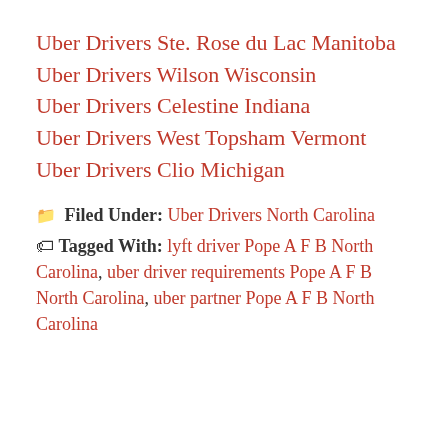Uber Drivers Ste. Rose du Lac Manitoba
Uber Drivers Wilson Wisconsin
Uber Drivers Celestine Indiana
Uber Drivers West Topsham Vermont
Uber Drivers Clio Michigan
📁 Filed Under: Uber Drivers North Carolina
🏷 Tagged With: lyft driver Pope A F B North Carolina, uber driver requirements Pope A F B North Carolina, uber partner Pope A F B North Carolina